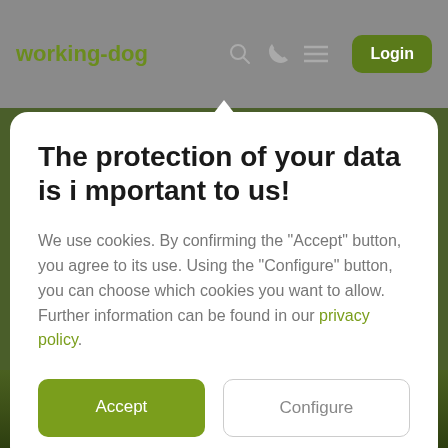working-dog
The protection of your data is i mportant to us!
We use cookies. By confirming the "Accept" button, you agree to its use. Using the "Configure" button, you can choose which cookies you want to allow. Further information can be found in our privacy policy.
Accept
Configure